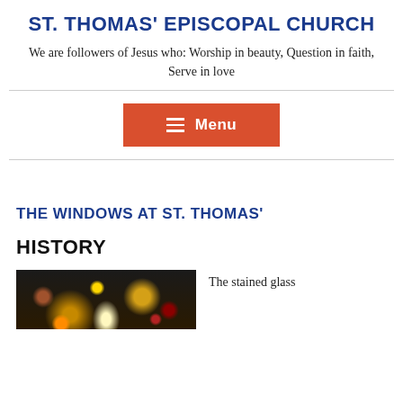ST. THOMAS' EPISCOPAL CHURCH
We are followers of Jesus who: Worship in beauty, Question in faith, Serve in love
[Figure (other): Red menu button with hamburger icon and text 'Menu']
THE WINDOWS AT ST. THOMAS'
HISTORY
[Figure (photo): Stained glass window image showing colorful religious glass art on dark background]
The stained glass